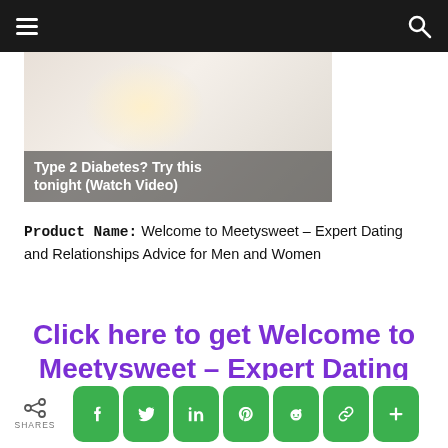Navigation bar with hamburger menu and search icon
[Figure (photo): Advertisement image with light background and text overlay reading 'Type 2 Diabetes? Try this tonight (Watch Video)']
Product Name: Welcome to Meetysweet – Expert Dating and Relationships Advice for Men and Women
Click here to get Welcome to Meetysweet – Expert Dating and Relationships Advice for Men and
SHARES | Social share buttons: Facebook, Twitter, LinkedIn, Pinterest, Reddit, Link, Plus